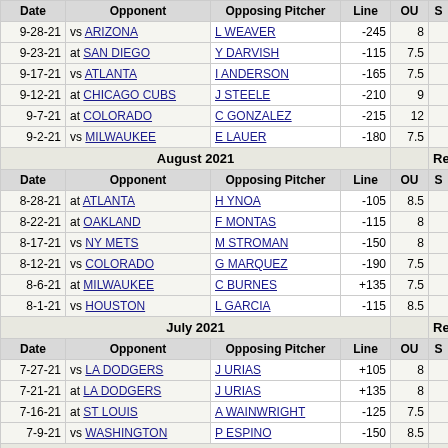| Date | Opponent | Opposing Pitcher | Line | OU | S |
| --- | --- | --- | --- | --- | --- |
| 9-28-21 | vs ARIZONA | L WEAVER | -245 | 8 |  |
| 9-23-21 | at SAN DIEGO | Y DARVISH | -115 | 7.5 |  |
| 9-17-21 | vs ATLANTA | I ANDERSON | -165 | 7.5 |  |
| 9-12-21 | at CHICAGO CUBS | J STEELE | -210 | 9 |  |
| 9-7-21 | at COLORADO | C GONZALEZ | -215 | 12 |  |
| 9-2-21 | vs MILWAUKEE | E LAUER | -180 | 7.5 |  |
| August 2021 |  |  |  |  | Res |
| Date | Opponent | Opposing Pitcher | Line | OU | S |
| 8-28-21 | at ATLANTA | H YNOA | -105 | 8.5 |  |
| 8-22-21 | at OAKLAND | F MONTAS | -115 | 8 |  |
| 8-17-21 | vs NY METS | M STROMAN | -150 | 8 |  |
| 8-12-21 | vs COLORADO | G MARQUEZ | -190 | 7.5 |  |
| 8-6-21 | at MILWAUKEE | C BURNES | +135 | 7.5 |  |
| 8-1-21 | vs HOUSTON | L GARCIA | -115 | 8.5 |  |
| July 2021 |  |  |  |  | Res |
| Date | Opponent | Opposing Pitcher | Line | OU | S |
| 7-27-21 | vs LA DODGERS | J URIAS | +105 | 8 |  |
| 7-21-21 | at LA DODGERS | J URIAS | +135 | 8 |  |
| 7-16-21 | at ST LOUIS | A WAINWRIGHT | -125 | 7.5 |  |
| 7-9-21 | vs WASHINGTON | P ESPINO | -150 | 8.5 |  |
| May 2021 |  |  |  |  | Res |
| Date | Opponent | Opposing Pitcher | Line | OU | S |
| 5-29-21 | at LA DODGERS | J URIAS | +180 | 7.5 |  |